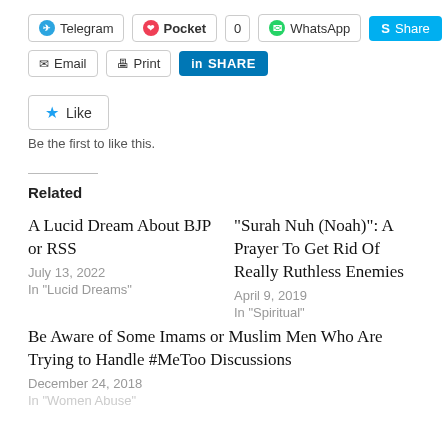[Figure (screenshot): Social sharing buttons row 1: Telegram, Pocket (0), WhatsApp, Share (Skype)]
[Figure (screenshot): Social sharing buttons row 2: Email, Print, LinkedIn SHARE]
[Figure (screenshot): Like button widget]
Be the first to like this.
Related
A Lucid Dream About BJP or RSS
July 13, 2022
In "Lucid Dreams"
“Surah Nuh (Noah)”: A Prayer To Get Rid Of Really Ruthless Enemies
April 9, 2019
In “Spiritual”
Be Aware of Some Imams or Muslim Men Who Are Trying to Handle #MeToo Discussions
December 24, 2018
In “Women Abuse”